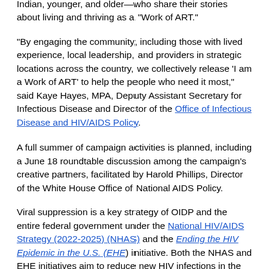Indian, younger, and older—who share their stories about living and thriving as a “Work of ART.”
“By engaging the community, including those with lived experience, local leadership, and providers in strategic locations across the country, we collectively release ‘I am a Work of ART’ to help the people who need it most,” said Kaye Hayes, MPA, Deputy Assistant Secretary for Infectious Disease and Director of the Office of Infectious Disease and HIV/AIDS Policy.
A full summer of campaign activities is planned, including a June 18 roundtable discussion among the campaign’s creative partners, facilitated by Harold Phillips, Director of the White House Office of National AIDS Policy.
Viral suppression is a key strategy of OIDP and the entire federal government under the National HIV/AIDS Strategy (2022-2025) (NHAS) and the Ending the HIV Epidemic in the U.S. (EHE) initiative. Both the NHAS and EHE initiatives aim to reduce new HIV infections in the United States by 90% by 2030.
For more information about the ‘I am a Work of ART’ campaign,